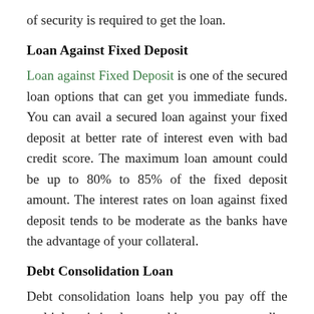of security is required to get the loan.
Loan Against Fixed Deposit
Loan against Fixed Deposit is one of the secured loan options that can get you immediate funds. You can avail a secured loan against your fixed deposit at better rate of interest even with bad credit score. The maximum loan amount could be up to 80% to 85% of the fixed deposit amount. The interest rates on loan against fixed deposit tends to be moderate as the banks have the advantage of your collateral.
Debt Consolidation Loan
Debt consolidation loans help you pay off the multiple existing loans and improve your credit